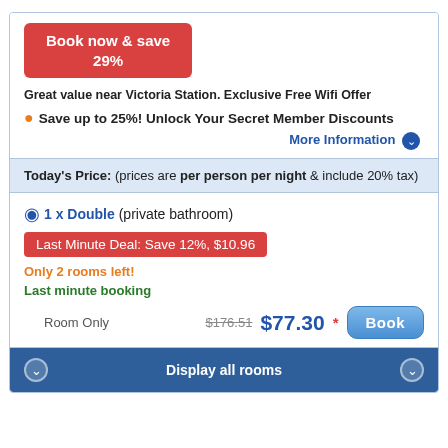Book now & save 29%
Great value near Victoria Station. Exclusive Free Wifi Offer
Save up to 25%! Unlock Your Secret Member Discounts
More Information
Today's Price: (prices are per person per night & include 20% tax)
1 x Double (private bathroom)
Last Minute Deal: Save 12%, $10.96
Only 2 rooms left!
Last minute booking
Room Only   $176.51  $77.30 *   Book
Display all rooms